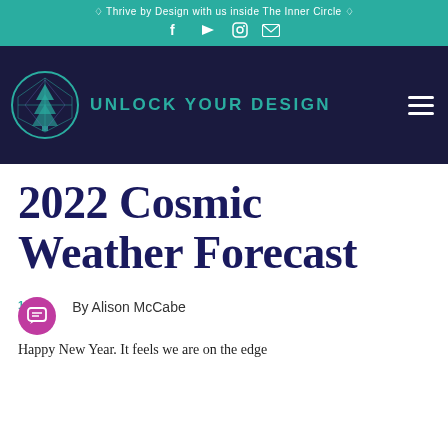◇ Thrive by Design with us inside The Inner Circle ◇
[Figure (logo): Unlock Your Design logo with teal circular emblem containing geometric tree/diamond shape and text 'UNLOCK YOUR DESIGN' in teal uppercase letters on dark navy background]
2022 Cosmic Weather Forecast
1 By Alison McCabe
Happy New Year. It feels we are on the edge